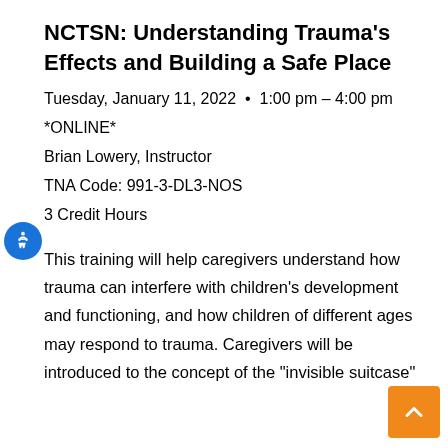NCTSN: Understanding Trauma's Effects and Building a Safe Place
Tuesday, January 11, 2022  •  1:00 pm – 4:00 pm
*ONLINE*
Brian Lowery, Instructor
TNA Code: 991-3-DL3-NOS
3 Credit Hours
This training will help caregivers understand how trauma can interfere with children's development and functioning, and how children of different ages may respond to trauma. Caregivers will be introduced to the concept of the "invisible suitcase"